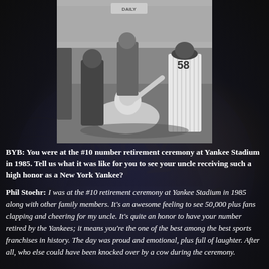[Figure (photo): Black and white photograph of a man sitting on the ground at a baseball field, surrounded by people in Yankees pinstripe uniforms, with stadium crowd visible in background. Jersey number 58 visible on right side.]
BYB: You were at the #10 number retirement ceremony at Yankee Stadium in 1985. Tell us what it was like for you to see your uncle receiving such a high honor as a New York Yankee?
Phil Stoehr: I was at the #10 retirement ceremony at Yankee Stadium in 1985 along with other family members. It's an awesome feeling to see 50,000 plus fans clapping and cheering for my uncle. It's quite an honor to have your number retired by the Yankees; it means you're the one of the best among the best sports franchises in history. The day was proud and emotional, plus full of laughter. After all, who else could have been knocked over by a cow during the ceremony.